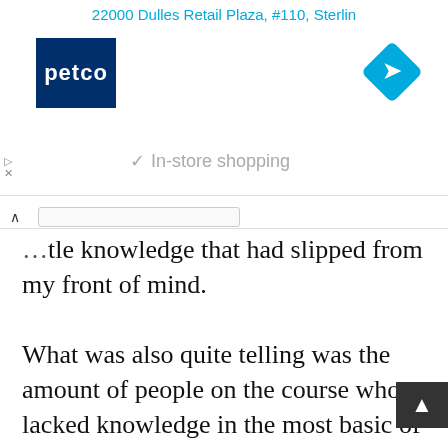22000 Dulles Retail Plaza, #110, Sterlin
[Figure (logo): Petco logo — dark blue square with white text 'petco']
[Figure (other): Cyan navigation direction diamond icon (turn right arrow)]
In-store shopping
...tle knowledge that had slipped from my front of mind.

What was also quite telling was the amount of people on the course who lacked knowledge in the most basic of areas – and that you could see that they were coming away with useful and potentially life-saving information. Would it be really cost too much to make this mandatory for all drivers every, say, 10